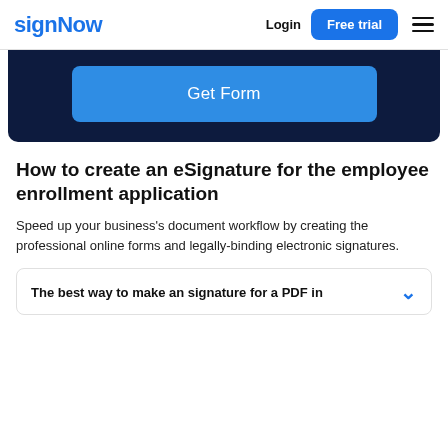signNow  Login  Free trial  ☰
[Figure (other): Dark navy blue hero section with a 'Get Form' button centered in it]
How to create an eSignature for the employee enrollment application
Speed up your business's document workflow by creating the professional online forms and legally-binding electronic signatures.
The best way to make an signature for a PDF in